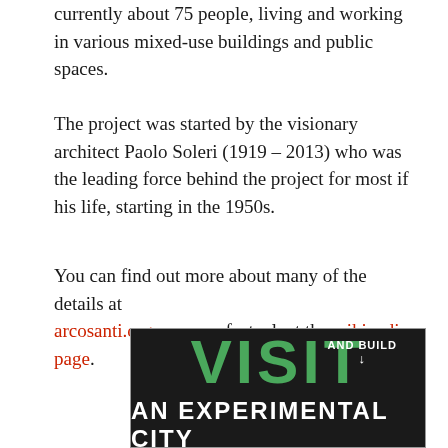currently about 75 people, living and working in various mixed-use buildings and public spaces.
The project was started by the visionary architect Paolo Soleri (1919 – 2013) who was the leading force behind the project for most if his life, starting in the 1950s.
You can find out more about many of the details at arcosanti.org or, more factual, at the wikipedia page.
[Figure (photo): Dark background promotional image with large green bold text 'VISIT' and white text 'AND BUILD' top right with a downward arrow, and white bold text 'AN EXPERIMENTAL CITY' below.]